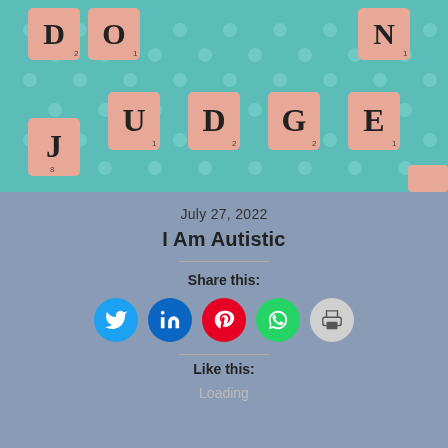[Figure (photo): Scrabble tiles spelling 'DO NOT JUDGE' on a teal polka-dot background. Tiles are salmon/pink colored with black letters.]
July 27, 2022
I Am Autistic
Share this:
[Figure (infographic): Social share buttons: Twitter (blue), LinkedIn (dark blue), Pinterest (red), WhatsApp (green), Print (gray)]
Like this:
Loading